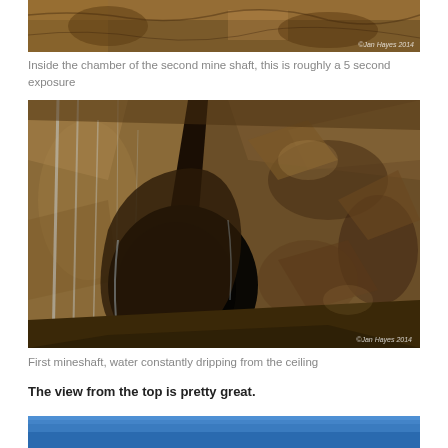[Figure (photo): Top portion of a mine shaft chamber photo, partial view showing rocky cave-like texture with warm earth tones]
Inside the chamber of the second mine shaft, this is roughly a 5 second exposure
[Figure (photo): Interior of first mineshaft showing a dark tunnel opening in rocky walls with water streaks dripping from the ceiling. Copyright Jan Hayes 2014.]
First mineshaft, water constantly dripping from the ceiling
The view from the top is pretty great.
[Figure (photo): Bottom portion partially visible, showing a blue sky or water scene at the top of the mine]